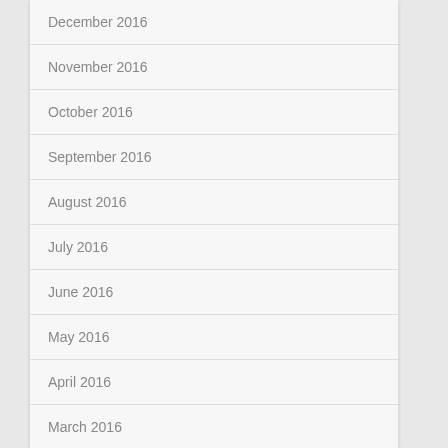December 2016
November 2016
October 2016
September 2016
August 2016
July 2016
June 2016
May 2016
April 2016
March 2016